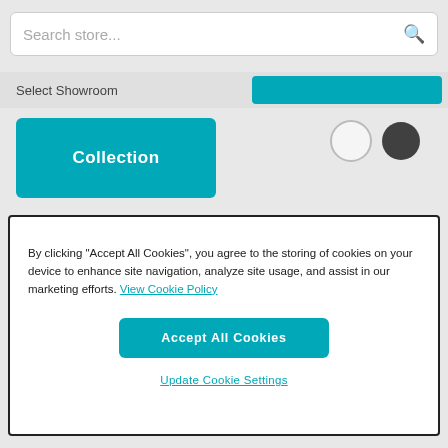Search store...
Select Showroom
Collection
By clicking "Accept All Cookies", you agree to the storing of cookies on your device to enhance site navigation, analyze site usage, and assist in our marketing efforts. View Cookie Policy
Accept All Cookies
Update Cookie Settings